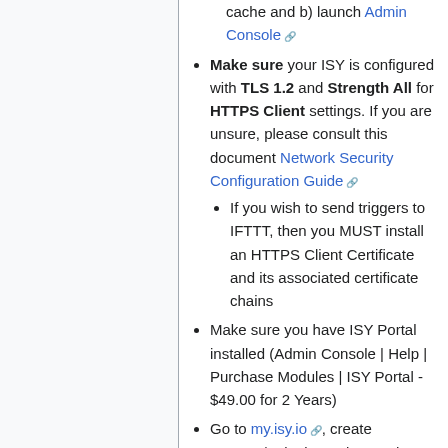cache and b) launch Admin Console
Make sure your ISY is configured with TLS 1.2 and Strength All for HTTPS Client settings. If you are unsure, please consult this document Network Security Configuration Guide
If you wish to send triggers to IFTTT, then you MUST install an HTTPS Client Certificate and its associated certificate chains
Make sure you have ISY Portal installed (Admin Console | Help | Purchase Modules | ISY Portal - $49.00 for 2 Years)
Go to my.isy.io, create account/or login, and enter the UUID of your ISY under ISYs
Go to Admin Console | Configuration